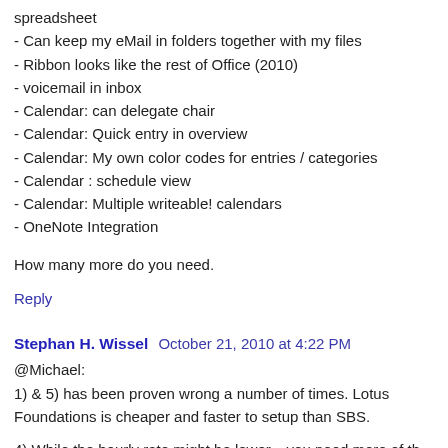spreadsheet
- Can keep my eMail in folders together with my files
- Ribbon looks like the rest of Office (2010)
- voicemail in inbox
- Calendar: can delegate chair
- Calendar: Quick entry in overview
- Calendar: My own color codes for entries / categories
- Calendar : schedule view
- Calendar: Multiple writeable! calendars
- OneNote Integration
How many more do you need.
Reply
Stephan H. Wissel  October 21, 2010 at 4:22 PM
@Michael:
1) & 5) has been proven wrong a number of times. Lotus Foundations is cheaper and faster to setup than SBS.
4) While the hourly rate might be lower... you need more of th…